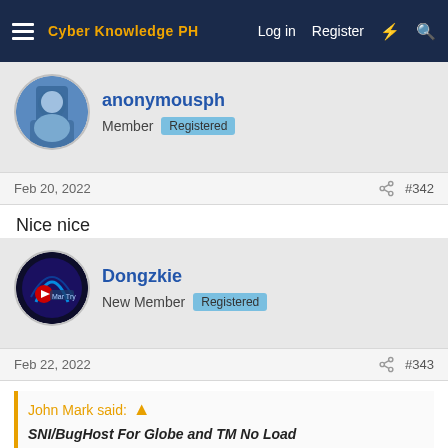Cyber Knowledge PH — Log in  Register
anonymousph
Member  Registered
Feb 20, 2022  #342
Nice nice
Dongzkie
New Member  Registered
Feb 22, 2022  #343
John Mark said:
SNI/BugHost For Globe and TM No Load
[Hidden content]